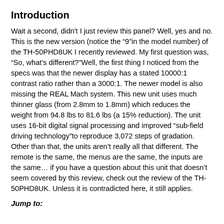Introduction
Wait a second, didn't I just review this panel? Well, yes and no. This is the new version (notice the “9”in the model number) of the TH-50PHD8UK I recently reviewed. My first question was, “So, what’s different?”Well, the first thing I noticed from the specs was that the newer display has a stated 10000:1 contrast ratio rather than a 3000:1. The newer model is also missing the REAL Mach system. This new unit uses much thinner glass (from 2.8mm to 1.8mm) which reduces the weight from 94.8 lbs to 81.6 lbs (a 15% reduction). The unit uses 16-bit digital signal processing and improved “sub-field driving technology”to reproduce 3,072 steps of gradation. Other than that, the units aren’t really all that different. The remote is the same, the menus are the same, the inputs are the same… if you have a question about this unit that doesn’t seem covered by this review, check out the review of the TH-50PHD8UK. Unless it is contradicted here, it still applies.
Jump to: